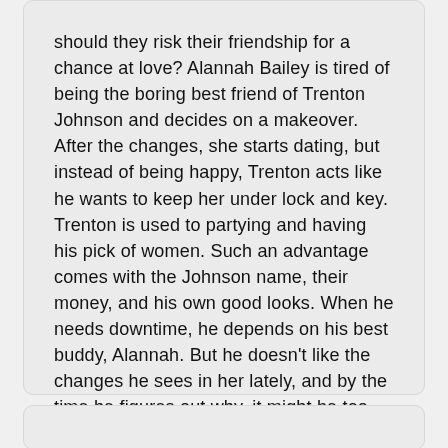should they risk their friendship for a chance at love? Alannah Bailey is tired of being the boring best friend of Trenton Johnson and decides on a makeover. After the changes, she starts dating, but instead of being happy, Trenton acts like he wants to keep her under lock and key. Trenton is used to partying and having his pick of women. Such an advantage comes with the Johnson name, their money, and his own good looks. When he needs downtime, he depends on his best buddy, Alannah. But he doesn't like the changes he sees in her lately, and by the time he figures out why, it might be too late.